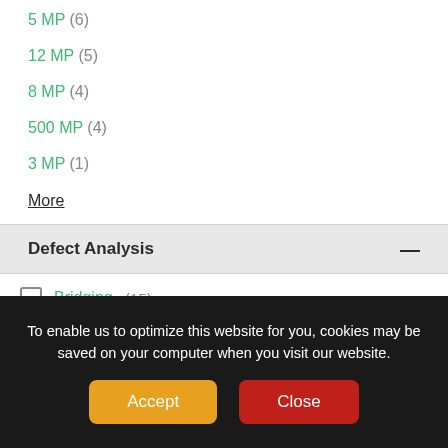5 MP (6)
12 MP (5)
8 MP (4)
500 MP (4)
3 MP (1)
More
Defect Analysis
Bridging (15)
Insufficient Solder (15)
Misalignment (13)
Scratch (13)
Excessive Solder (12)
To enable us to optimize this website for you, cookies may be saved on your computer when you visit our website.